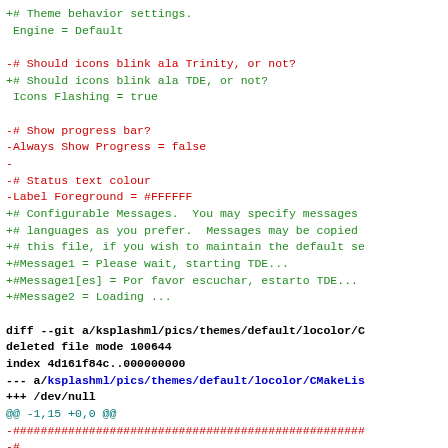diff output showing git changes to ksplashml theme configuration files, including added lines for TDE theme settings and deleted CMakeLists.txt file